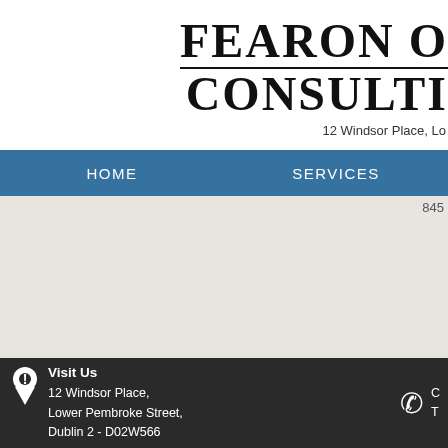FEARON O... CONSULTI...
12 Windsor Place, Lo...
HOME    SERVICES
845...
[Figure (photo): Interior architectural photo showing steel roof structure with diagonal cross members and ceiling panels with lighting]
AB...
Arc...
Ab...
Visit Us
12 Windsor Place,
Lower Pembroke Street,
Dublin 2 - D02W566